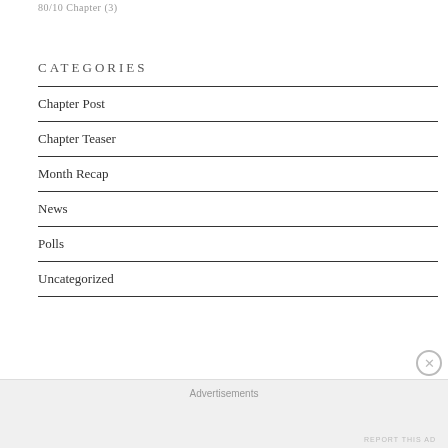80/10 Chapter (3)
CATEGORIES
Chapter Post
Chapter Teaser
Month Recap
News
Polls
Uncategorized
Advertisements